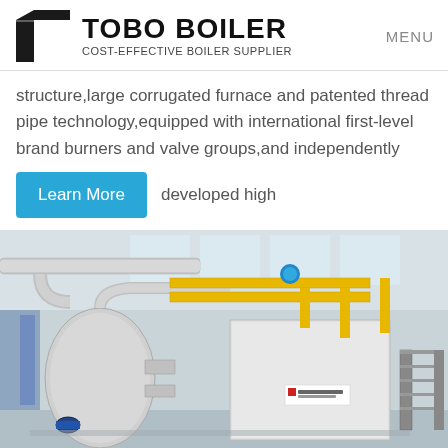TOBO BOILER — COST-EFFECTIVE BOILER SUPPLIER | MENU
structure,large corrugated furnace and patented thread pipe technology,equipped with international first-level brand burners and valve groups,and independently developed high
Learn More
[Figure (photo): Industrial boiler equipment in a factory setting, showing insulated cylindrical boiler vessel with silver pipe fittings, yellow gas pipes, blue fittings, and metal staircase in the background of a large industrial facility.]